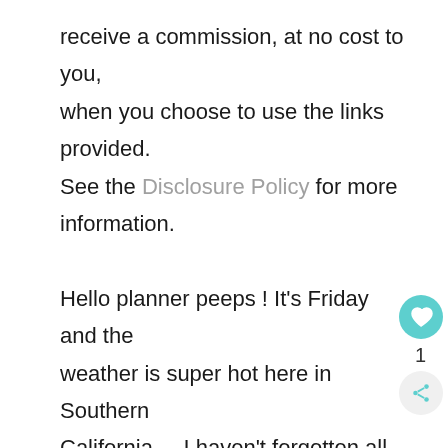receive a commission, at no cost to you, when you choose to use the links provided. See the Disclosure Policy for more information.

Hello planner peeps ! It's Friday and the weather is super hot here in Southern California.   I haven't forgotten all of you Happy Planner fans and today I am releasing this fun tropical themed set of planner stickers.  The weather was my inspiration for this set, looking for ways to stay cool!!